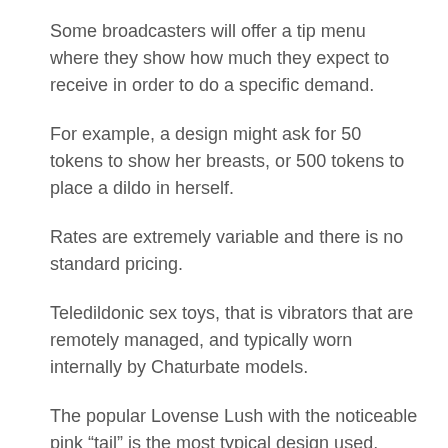Some broadcasters will offer a tip menu where they show how much they expect to receive in order to do a specific demand.
For example, a design might ask for 50 tokens to show her breasts, or 500 tokens to place a dildo in herself.
Rates are extremely variable and there is no standard pricing.
Teledildonic sex toys, that is vibrators that are remotely managed, and typically worn internally by Chaturbate models.
The popular Lovense Lush with the noticeable pink “tail” is the most typical design used.
By utilizing ideal interfacing software the vibrator can be triggered by the viewer’s ideas.
This indicates that the actions of the audience, investing money on